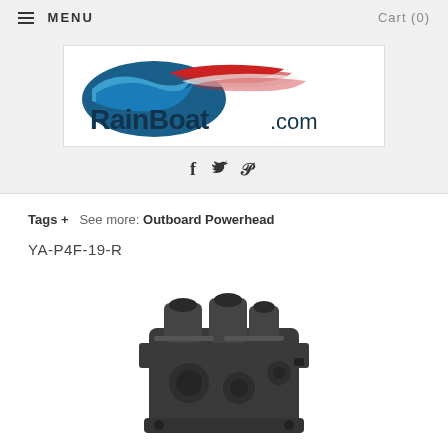MENU  Cart (0)
[Figure (logo): RainBoat.com logo with stylized wave and boat graphic in dark blue, light blue, and red]
[Figure (infographic): Social media icons: Facebook (f), Twitter (bird), Pinterest (P)]
Tags +  See more: Outboard Powerhead
YA-P4F-19-R
[Figure (photo): Photo of a dark gray/black outboard powerhead engine component (YA-P4F-19-R)]